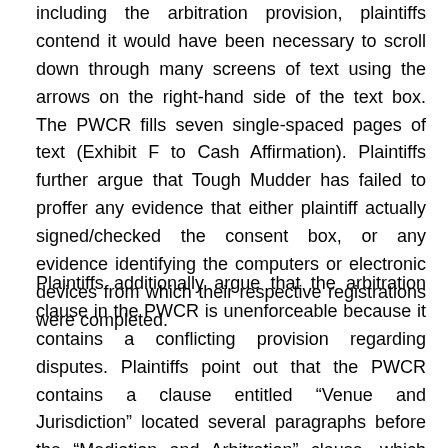including the arbitration provision, plaintiffs contend it would have been necessary to scroll down through many screens of text using the arrows on the right-hand side of the text box. The PWCR fills seven single-spaced pages of text (Exhibit F to Cash Affirmation). Plaintiffs further argue that Tough Mudder has failed to proffer any evidence that either plaintiff actually signed/checked the consent box, or any evidence identifying the computers or electronic devices from which their respective registrations were completed.
Plaintiffs additionally argue that the arbitration clause in the PWCR is unenforceable because it contains a conflicting provision regarding disputes. Plaintiffs point out that the PWCR contains a clause entitled “Venue and Jurisdiction” located several paragraphs before the “Mediation and Arbitration” clause, which states [Exhibit F